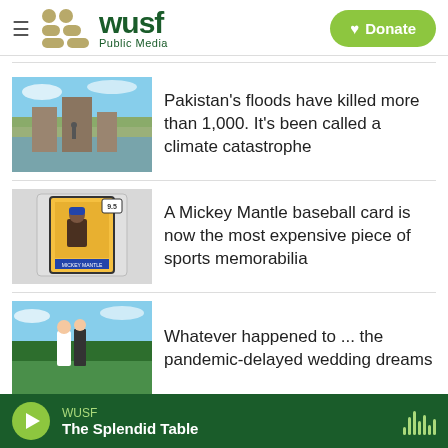[Figure (logo): WUSF Public Media logo with hamburger menu and Donate button]
[Figure (photo): Flood damage scene in Pakistan showing destroyed buildings and water]
Pakistan's floods have killed more than 1,000. It's been called a climate catastrophe
[Figure (photo): Hand holding a Mickey Mantle baseball card graded 9.5]
A Mickey Mantle baseball card is now the most expensive piece of sports memorabilia
[Figure (photo): Couple at a wedding outdoors with greenery in background]
Whatever happened to ... the pandemic-delayed wedding dreams
WUSF
The Splendid Table